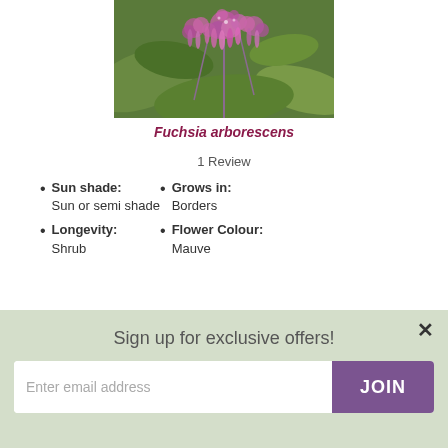[Figure (photo): Close-up photograph of Fuchsia arborescens plant with purple/mauve flowers and green leaves]
Fuchsia arborescens
1 Review
Sun shade: Sun or semi shade
Grows in: Borders
Flower Colour: Mauve
Longevity: Shrub
Sign up for exclusive offers!
Enter email address
JOIN